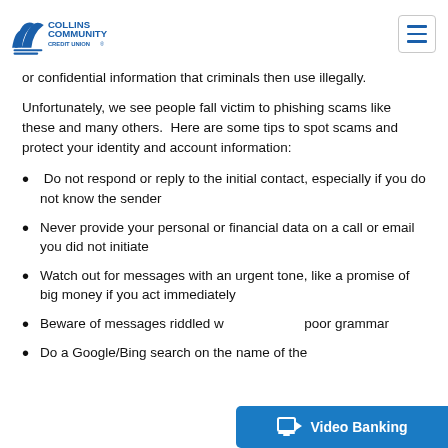Collins Community Credit Union
or confidential information that criminals then use illegally.
Unfortunately, we see people fall victim to phishing scams like these and many others. Here are some tips to spot scams and protect your identity and account information:
Do not respond or reply to the initial contact, especially if you do not know the sender
Never provide your personal or financial data on a call or email you did not initiate
Watch out for messages with an urgent tone, like a promise of big money if you act immediately
Beware of messages riddled with poor grammar
Do a Google/Bing search on the name of the